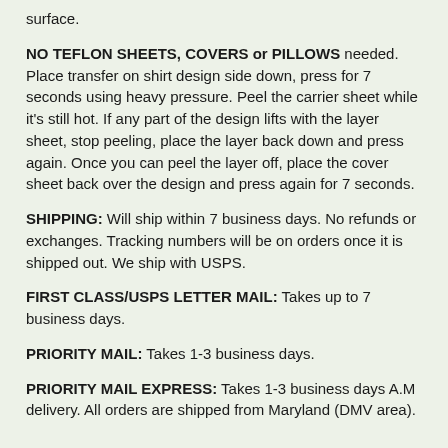surface.
NO TEFLON SHEETS, COVERS or PILLOWS needed. Place transfer on shirt design side down, press for 7 seconds using heavy pressure. Peel the carrier sheet while it's still hot. If any part of the design lifts with the layer sheet, stop peeling, place the layer back down and press again. Once you can peel the layer off, place the cover sheet back over the design and press again for 7 seconds.
SHIPPING: Will ship within 7 business days. No refunds or exchanges. Tracking numbers will be on orders once it is shipped out. We ship with USPS.
FIRST CLASS/USPS LETTER MAIL: Takes up to 7 business days.
PRIORITY MAIL: Takes 1-3 business days.
PRIORITY MAIL EXPRESS: Takes 1-3 business days A.M delivery. All orders are shipped from Maryland (DMV area).